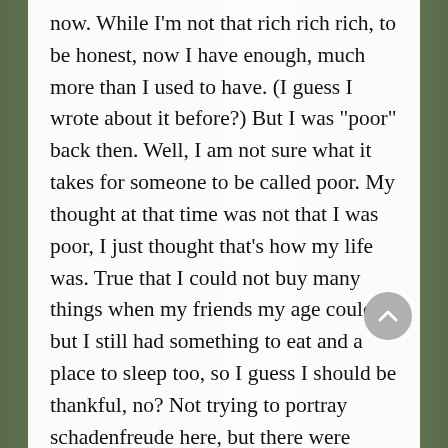now. While I'm not that rich rich rich, to be honest, now I have enough, much more than I used to have. (I guess I wrote about it before?) But I was "poor" back then. Well, I am not sure what it takes for someone to be called poor. My thought at that time was not that I was poor, I just thought that's how my life was. True that I could not buy many things when my friends my age could, but I still had something to eat and a place to sleep too, so I guess I should be thankful, no? Not trying to portray schadenfreude here, but there were people who didn't even have a place to stay, right? About how poor I was? Well, both of my parents didn't finish elementary school. They were just peasants, farmers without their own ricefields. They worked